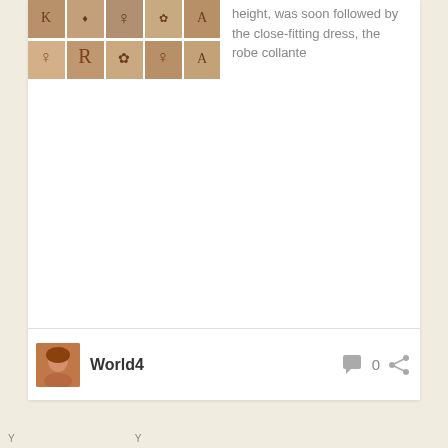[Figure (photo): A grid of vintage fashion illustration thumbnails showing women in various styles and hairstyles, arranged in 2 rows of 5 images on a warm tan/beige background.]
height, was soon followed by the close-fitting dress, the robe collante
[Figure (photo): Small avatar photo of a person with reddish-brown hair]
World4
0